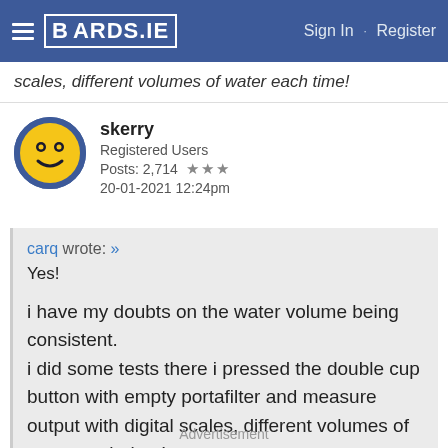BOARDS.IE  Sign In · Register
scales, different volumes of water each time!
skerry
Registered Users
Posts: 2,714 ★★★
20-01-2021 12:24pm
carq wrote: »
Yes!

i have my doubts on the water volume being consistent.
i did some tests there i pressed the double cup button with empty portafilter and measure output with digital scales, different volumes of water each time!
Advertisement